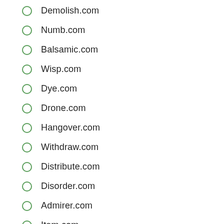Demolish.com
Numb.com
Balsamic.com
Wisp.com
Dye.com
Drone.com
Hangover.com
Withdraw.com
Distribute.com
Disorder.com
Admirer.com
Item.com
Clinch.com
Baja.com